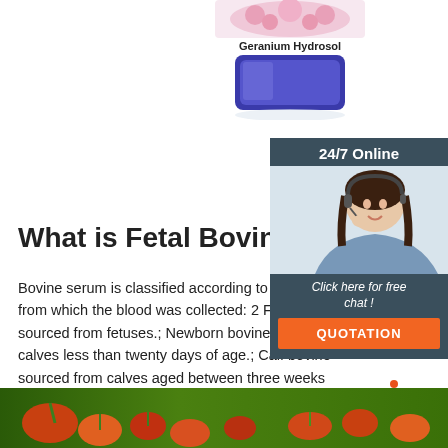[Figure (photo): Geranium Hydrosol product bottle with blue container and flower label, text 'Geranium Hydrosol' below]
[Figure (infographic): 24/7 Online chat widget with female customer service agent wearing headset, 'Click here for free chat!' text and orange QUOTATION button]
What is Fetal Bovine Serum
Bovine serum is classified according to the age of the animal from which the blood was collected: 2 Fetal bovine serum is sourced from fetuses.; Newborn bovine serum is sourced from calves less than twenty days of age.; Calf bovine serum is sourced from calves aged between three weeks and 12 months.; Adult bovine serum is sourced from cows over 12 months old.
[Figure (infographic): Green 'Get Price' button]
[Figure (infographic): Orange TOP button with dot triangle icon]
[Figure (photo): Bottom strip showing colorful vegetables/fruits]